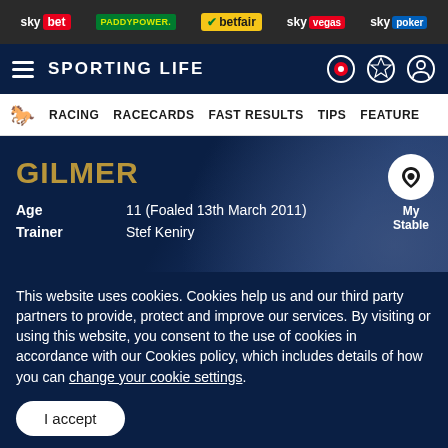sky bet | PADDYPOWER. | betfair | sky vegas | sky poker
SPORTING LIFE
RACING  RACECARDS  FAST RESULTS  TIPS  FEATURES
GILMER
Age  11 (Foaled 13th March 2011)
Trainer  Stef Keniry
This website uses cookies. Cookies help us and our third party partners to provide, protect and improve our services. By visiting or using this website, you consent to the use of cookies in accordance with our Cookies policy, which includes details of how you can change your cookie settings.
I accept